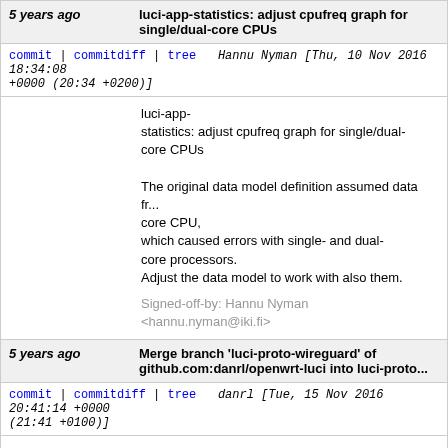5 years ago luci-app-statistics: adjust cpufreq graph for single/dual-core CPUs
commit | commitdiff | tree   Hannu Nyman [Thu, 10 Nov 2016 18:34:08 +0000 (20:34 +0200)]
luci-app-statistics: adjust cpufreq graph for single/dual-core CPUs

The original data model definition assumed data from a multi-core CPU, which caused errors with single- and dual-core processors.
Adjust the data model to work with also them.

Signed-off-by: Hannu Nyman <hannu.nyman@iki.fi>
5 years ago Merge branch 'luci-proto-wireguard' of github.com:danrl/openwrt-luci into luci-proto...
commit | commitdiff | tree   danrl [Tue, 15 Nov 2016 20:41:14 +0000 (21:41 +0100)]
Merge branch 'luci-proto-wireguard' of github.com:danrl/openwrt-luci into luci-proto-wireguard
5 years ago luci-proto-wireguard: WireGuard VPN Protocol (Nov...)